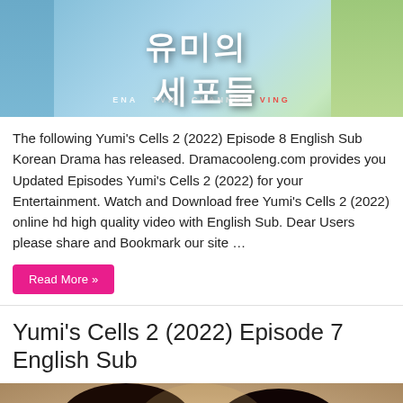[Figure (photo): Drama poster for Yumi's Cells 2 showing Korean characters on a blue and green background with two people and the text VING]
The following Yumi's Cells 2 (2022) Episode 8 English Sub Korean Drama has released. Dramacooleng.com provides you Updated Episodes Yumi's Cells 2 (2022) for your Entertainment. Watch and Download free Yumi's Cells 2 (2022) online hd high quality video with English Sub. Dear Users please share and Bookmark our site …
Read More »
Yumi's Cells 2 (2022) Episode 7 English Sub
[Figure (photo): Two people (a man and woman) looking at each other closely in a scene from Yumi's Cells 2 Episode 7]